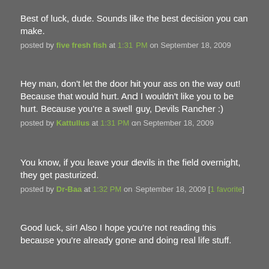Best of luck, dude. Sounds like the best decision you can make.
posted by five fresh fish at 1:31 PM on September 18, 2009
Hey man, don't let the door hit your ass on the way out! Because that would hurt. And I wouldn't like you to be hurt. Because you're a swell guy, Devils Rancher :)
posted by Kattullus at 1:31 PM on September 18, 2009
You know, if you leave your devils in the field overnight, they get pasturized.
posted by Dr-Baa at 1:32 PM on September 18, 2009 [1 favorite]
Good luck, sir! Also I hope you're not reading this because you're already gone and doing real life stuff.